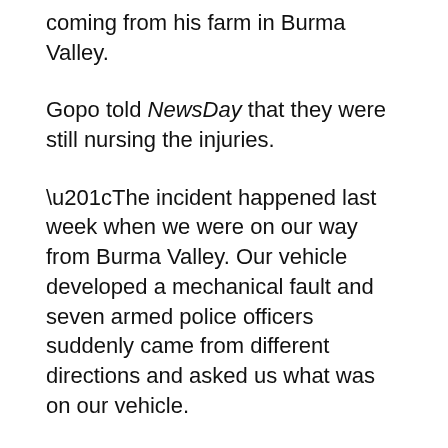The incident happened in Chigodora area when Gopo was coming from his farm in Burma Valley.
Gopo told NewsDay that they were still nursing the injuries.
“The incident happened last week when we were on our way from Burma Valley. Our vehicle developed a mechanical fault and seven armed police officers suddenly came from different directions and asked us what was on our vehicle.
“They assaulted us with logs and open fists and forced us to lie down. The assault took about 30 minutes,” he said.